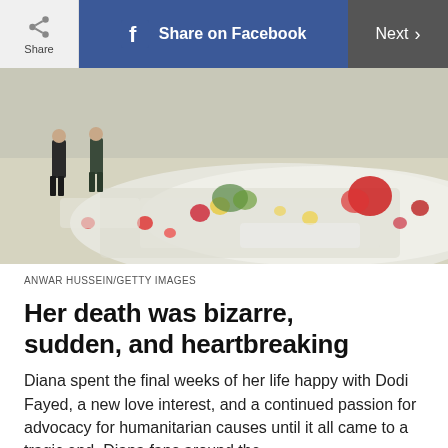Share | Share on Facebook | Next
[Figure (photo): Floral tributes laid on the ground, likely outside Kensington Palace. Two men in suits are visible walking in the background among the mass of flowers wrapped in cellophane.]
ANWAR HUSSEIN/GETTY IMAGES
Her death was bizarre, sudden, and heartbreaking
Diana spent the final weeks of her life happy with Dodi Fayed, a new love interest, and a continued passion for advocacy for humanitarian causes until it all came to a tragic end. Diana fans around the